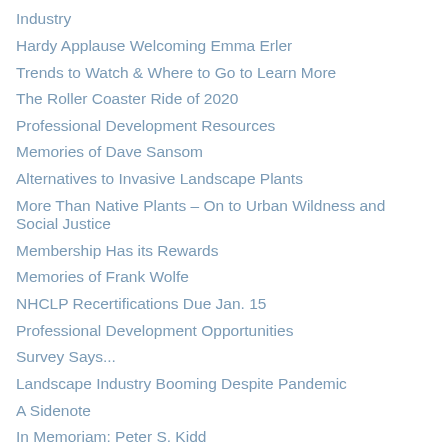Industry
Hardy Applause Welcoming Emma Erler
Trends to Watch & Where to Go to Learn More
The Roller Coaster Ride of 2020
Professional Development Resources
Memories of Dave Sansom
Alternatives to Invasive Landscape Plants
More Than Native Plants – On to Urban Wildness and Social Justice
Membership Has its Rewards
Memories of Frank Wolfe
NHCLP Recertifications Due Jan. 15
Professional Development Opportunities
Survey Says...
Landscape Industry Booming Despite Pandemic
A Sidenote
In Memoriam: Peter S. Kidd
Hellstrip Gardening? Hellyes!
Yes, There IS an APP for THAT!